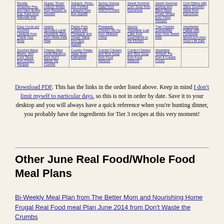| Ricotta, Smashed Pea, and Hard Boiled Egg Toast from Naturally Ella | Sloppy "Rosa" Lettuce Wraps from Recipes to Nourish | Spinach, Pesto, and Fontina Lasagna from Bon Appétit | Spring Quinoa Salad from ONOSYOUNS | Sweet Summer Corn Soup from Epicurious | Sweet Summer Quinoa and Black Bean Power Wraps from Felon Recipes | Corn fritters with Spicy Zucchini Salsa from Epicurious |
| Easy Crock-pot Zucchini Lasagna from Thank Your Body | Hearty Sprouted Lentil Vegetable Stew from Healy Eats Real | Panko Pork Cutlets with Pineapple and Ginger Salsa from Bon Appétit | Pineapple-Chicken Stir-fry from Midwest Living | Savory Vegetable Loaf Cake from Gourmande in the Kitchen | Thai Chicken Quesadillas from How Sweet Eats | Vegetarian Fajitas with Portabella Mushroom from Good Life Eats |
| Zucchini Black Beans, and Corn Tacos from Erica's Recipes | Cheesy-Maxi Lentil Macaroni from Don't Waste the Crumbs | Country Potato Salad from EatingWell | Curried Chicken and Rice Soup from Food Network | Curried Chicken and Rice Soup from Food Network | Vegetable Tempeh Pie from A Couple Cooks |  |
Download PDF. This has the links in the order listed above. Keep in mind I don't limit myself to particular days, so this is not in order by date. Save it to your desktop and you will always have a quick reference when you're hunting dinner, you probably have the ingredients for Tier 3 recipes at this very moment!
Other June Real Food/Whole Food Meal Plans
Bi-Weekly Meal Plan from The Better Mom and Nourishing Home
Frugal Real Food meal Plan June 2014 from Don't Waste the Crumbs